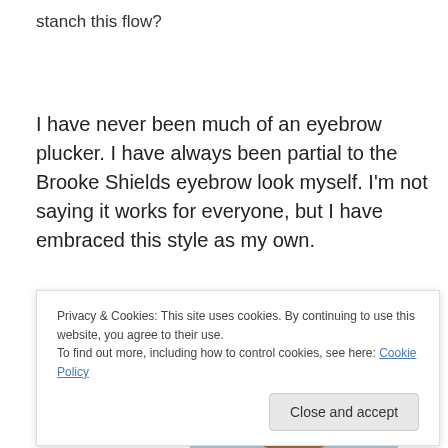stanch this flow?
I have never been much of an eyebrow plucker. I have always been partial to the Brooke Shields eyebrow look myself. I'm not saying it works for everyone, but I have embraced this style as my own.
[Figure (photo): Photo of a woman with brown hair, showing top of head and forehead area against a light blue background.]
Privacy & Cookies: This site uses cookies. By continuing to use this website, you agree to their use.
To find out more, including how to control cookies, see here: Cookie Policy

Close and accept